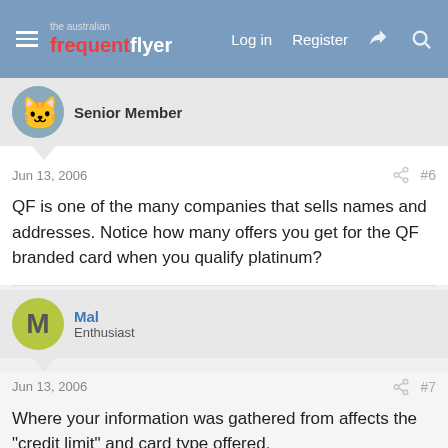The Australian Frequent Flyer | Log in | Register
Senior Member
Jun 13, 2006  #6
QF is one of the many companies that sells names and addresses. Notice how many offers you get for the QF branded card when you qualify platinum?
Mal
Enthusiast
Jun 13, 2006  #7
Where your information was gathered from affects the "credit limit" and card type offered.
EG, an address I used for a certain business exhibition suddenly started getting offers for certain types of credit cards.